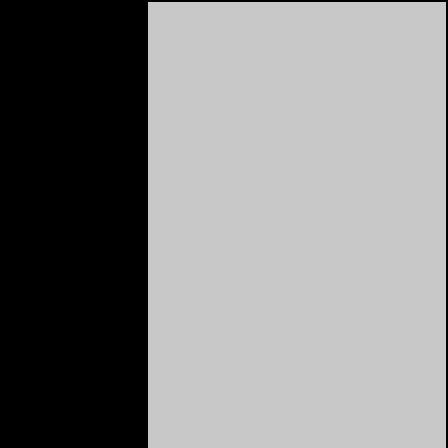[Figure (photo): A large placeholder/photo area with light gray background, displayed on a black background. The photo occupies the upper portion of the page.]
Show More
At Bucknell University I continued performance studies receiving my degree cum laude with a double major